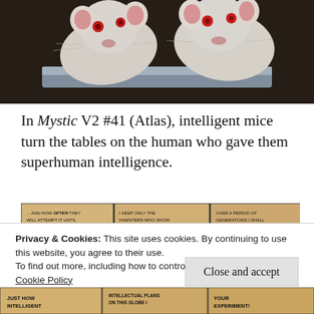[Figure (photo): Two white laboratory mice/rats peering over a metallic container edge, close-up photograph]
In Mystic V2 #41 (Atlas), intelligent mice turn the tables on the human who gave them superhuman intelligence.
[Figure (illustration): Comic strip panel from Mystic V2 #41 showing three panels of dialogue about hamster intelligence experiments. Panel 1: text about cubicles, food and combination boxes. Panel 2: scientist explaining keeping hamsters with best scores and displaying greatest intelligence. Panel 3: dialogue about developing super-intelligent strain of hamsters never approaching electric plates.]
Privacy & Cookies: This site uses cookies. By continuing to use this website, you agree to their use.
To find out more, including how to control cookies, see here:
Cookie Policy
Close and accept
[Figure (illustration): Bottom strip of comic panels partially visible, showing text fragments: JUST HOW INTELLIGENT, INTELLECTUAL PLANS ON THIS GLOBE, YOUR EXPERIMENT]